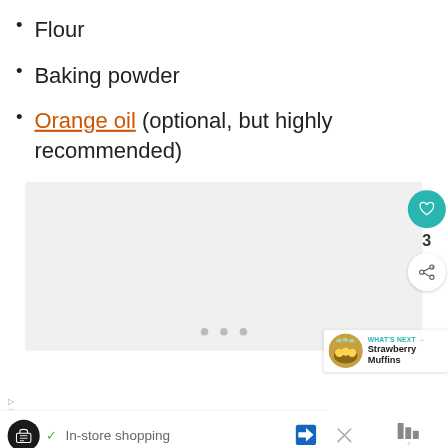Flour
Baking powder
Orange oil (optional, but highly recommended)
[Figure (screenshot): Gray content panel with three dots indicating a loading/carousel area, with sidebar buttons: heart icon (teal circle), count '3', share button, and a 'What's Next: Strawberry Muffins' widget]
[Figure (screenshot): Advertisement bar at the bottom showing a black circle logo, checkmark, 'In-store shopping' text, a blue navigation arrow icon, an X close button, and weather/app icons]